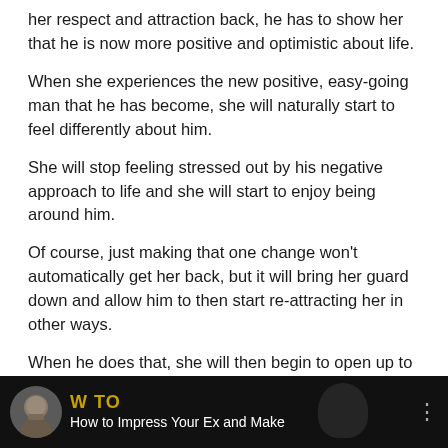her respect and attraction back, he has to show her that he is now more positive and optimistic about life.
When she experiences the new positive, easy-going man that he has become, she will naturally start to feel differently about him.
She will stop feeling stressed out by his negative approach to life and she will start to enjoy being around him.
Of course, just making that one change won't automatically get her back, but it will bring her guard down and allow him to then start re-attracting her in other ways.
When he does that, she will then begin to open up to giving him another chance so she can explore her new, more interesting and appealing feelings for him.
[Figure (screenshot): Video thumbnail with dark background showing a man's face on the left and a silhouette on the right, with yellow 'W TO' text and white subtitle 'How to Impress Your Ex and Make']